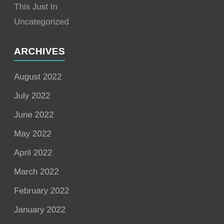This Just In
Uncategorized
ARCHIVES
August 2022
July 2022
June 2022
May 2022
April 2022
March 2022
February 2022
January 2022
December 2021